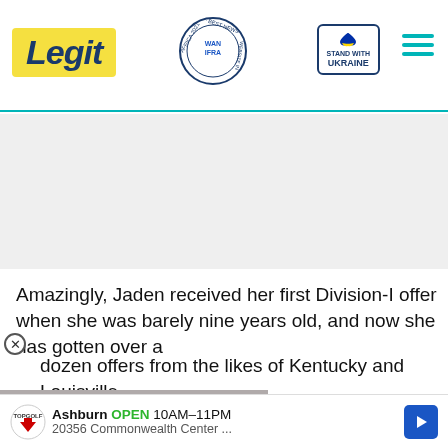Legit — Best News Website in Africa 2021 (WAN-IFRA) — Stand With Ukraine
[Figure (other): Advertisement placeholder block (gray)]
Amazingly, Jaden received her first Division-I offer when she was barely nine years old, and now she has gotten over a dozen offers from the likes of Kentucky and Louisville.
[Figure (photo): Video overlay thumbnail showing a couple at a formal event with teal circle label 'I STILL DON'T THINK I'M HIS TYPE' and a red play/down button]
he first woman in the NBA and e Connecticut basketball team. Diana Taurasi and Breanna and her brother are, it will lian Newman contest to
Ashburn OPEN 10AM–11PM — Topgolf — 20356 Commonwealth Center ...